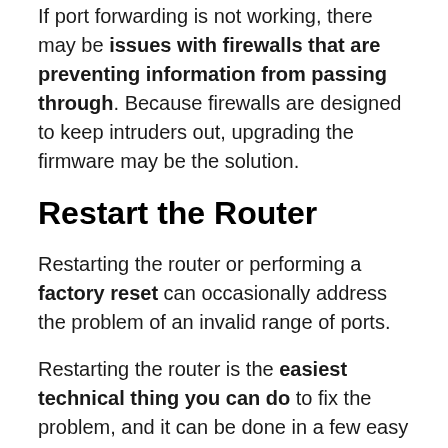If port forwarding is not working, there may be issues with firewalls that are preventing information from passing through. Because firewalls are designed to keep intruders out, upgrading the firmware may be the solution.
Restart the Router
Restarting the router or performing a factory reset can occasionally address the problem of an invalid range of ports.
Restarting the router is the easiest technical thing you can do to fix the problem, and it can be done in a few easy steps, starting with turning off your router and waiting a few minutes before restarting it.